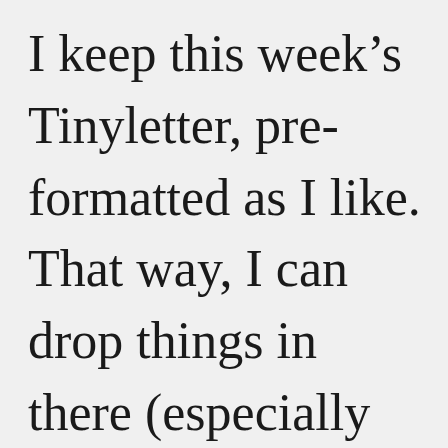I keep this week's Tinyletter, pre-formatted as I like. That way, I can drop things in there (especially